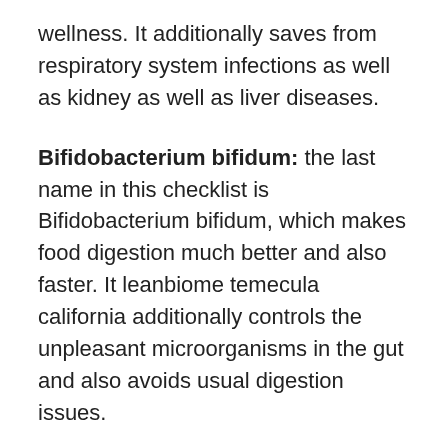wellness. It additionally saves from respiratory system infections as well as kidney as well as liver diseases.
Bifidobacterium bifidum: the last name in this checklist is Bifidobacterium bifidum, which makes food digestion much better and also faster. It leanbiome temecula california additionally controls the unpleasant microorganisms in the gut and also avoids usual digestion issues.
Inulin: This ingredient is prebiotic, which manages defecation and also aids in digestion. Without inulin, troubles such as unwanted gas, bowel irregularity, as well as level of acidity might appear, making digestion uneasy. Along with that, inulin